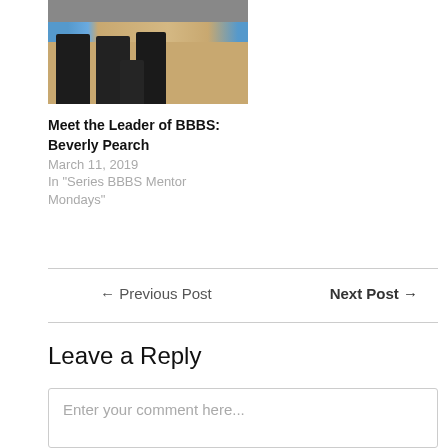[Figure (photo): Group photo of four people wearing black t-shirts standing in a bowling alley]
Meet the Leader of BBBS: Beverly Pearch
March 11, 2019
In "Series BBBS Mentor Mondays"
← Previous Post
Next Post →
Leave a Reply
Enter your comment here...